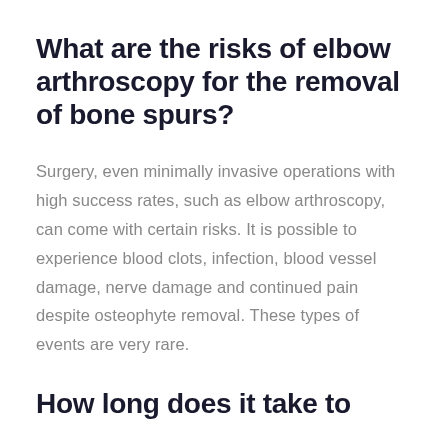What are the risks of elbow arthroscopy for the removal of bone spurs?
Surgery, even minimally invasive operations with high success rates, such as elbow arthroscopy, can come with certain risks. It is possible to experience blood clots, infection, blood vessel damage, nerve damage and continued pain despite osteophyte removal. These types of events are very rare.
How long does it take to